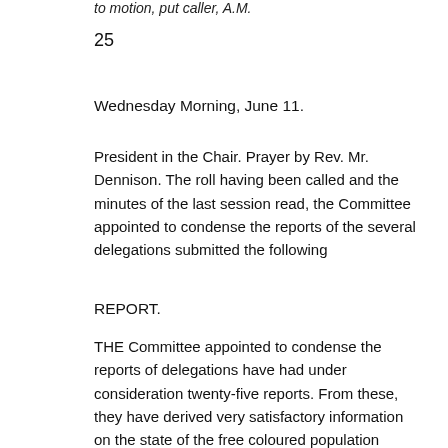to motion, put caller, A.M.
25
Wednesday Morning, June 11.
President in the Chair. Prayer by Rev. Mr. Dennison. The roll having been called and the minutes of the last session read, the Committee appointed to condense the reports of the several delegations submitted the following
REPORT.
THE Committee appointed to condense the reports of delegations have had under consideration twenty-five reports. From these, they have derived very satisfactory information on the state of the free coloured population generally. They are gratified to learn that not only have the institutions for moral, religious and literary improvement throughout the non-slave holding states increased in numbers, but that they have during the past year assumed a character of decided superiority. In moral reform, the people appear to have made rapid advancement.